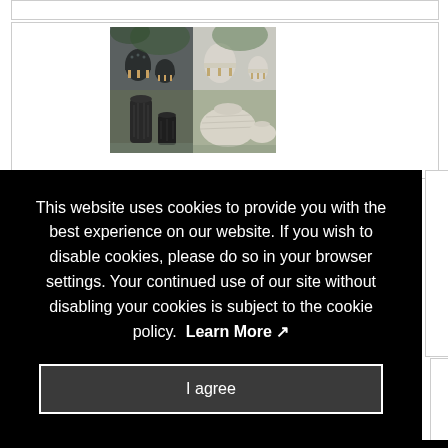[Figure (photo): Product photo grid showing four images of decorative planters/pots: top-left shows dark geometric patterned pots on wooden legs, top-right shows light gray smooth pots on wooden legs, bottom-left shows dark tall cylindrical textured pots, bottom-right shows light gray rounded bowl-shaped pots]
This website uses cookies to provide you with the best experience on our website. If you wish to disable cookies, please do so in your browser settings. Your continued use of our site without disabling your cookies is subject to the cookie policy. Learn More
I agree